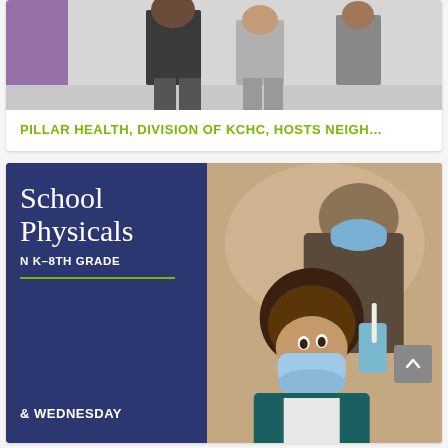[Figure (photo): People standing in a hallway or corridor, partial view showing torsos and legs, one person wearing a dark shirt]
PILLAR HEALTH, DIVISION OF KCHC, HOSTS NEIGH…
[Figure (photo): Composite image: left side shows dark blue panel with white text reading 'School Physicals K-8TH GRADE' and '& WEDNESDAY'; right side shows a medical professional wearing a blue mask examining a child's throat while both wear masks]